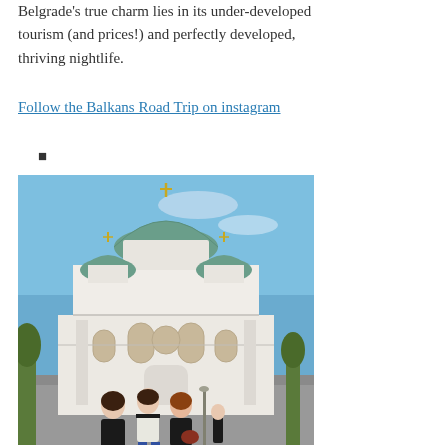Belgrade's true charm lies in its under-developed tourism (and prices!) and perfectly developed, thriving nightlife.
Follow the Balkans Road Trip on instagram
•
[Figure (photo): Three people posing in front of the Church of Saint Sava in Belgrade, a large white orthodox church with green domes and a golden cross on top. Clear blue sky in the background.]